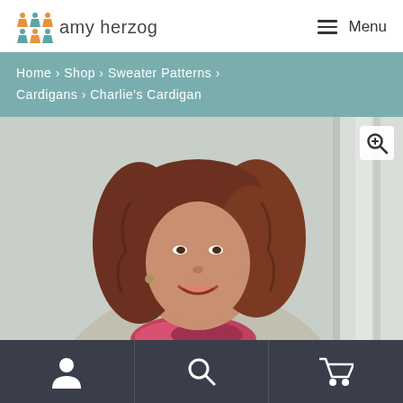amy herzog — Menu
Home › Shop › Sweater Patterns › Cardigans › Charlie's Cardigan
[Figure (photo): Woman with reddish-brown wavy hair smiling, wearing a light gray cardigan with a colorful red/pink scarf. Photo appears to be a product shot for Charlie's Cardigan knitting pattern.]